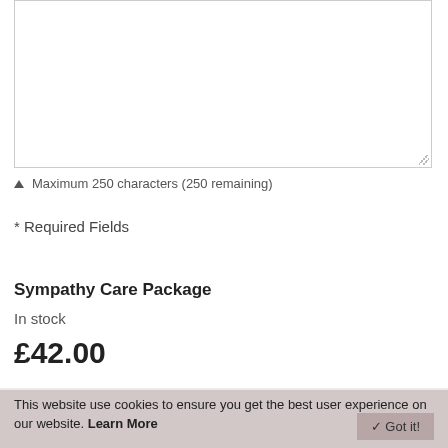[Figure (screenshot): A textarea input box with resize handle in the bottom-right corner]
Maximum 250 characters (250 remaining)
* Required Fields
Sympathy Care Package
In stock
£42.00
[Figure (screenshot): Quantity selector showing Qty label, input field with value 1, and plus/minus buttons]
This website use cookies to ensure you get the best user experience on our website. Learn More
✓ Got it!